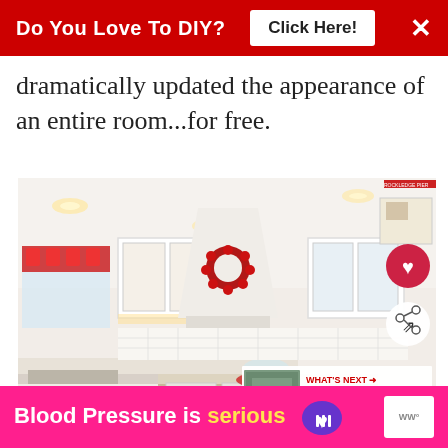Do You Love To DIY?  Click Here!  ×
dramatically updated the appearance of an entire room...for free.
[Figure (photo): White kitchen with recessed lighting, white cabinets, a decorative red wreath on the range hood, red valances on the windows, and a kitchen island. Overlaid with a heart icon button, a share icon button, and a 'WHAT'S NEXT' teaser card reading 'When And Why Do You...']
Blood Pressure is serious